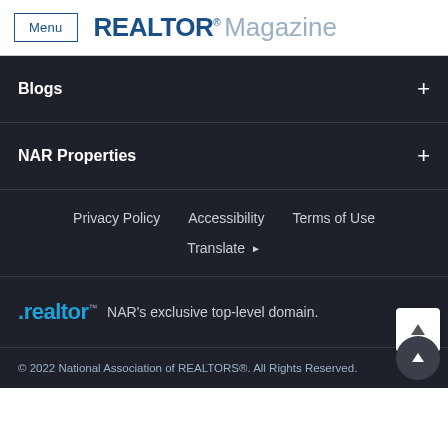Menu  REALTOR® Magazine
Blogs +
NAR Properties +
Privacy Policy   Accessibility   Terms of Use   Translate ▶
[Figure (logo): .realtor™ logo with text: NAR's exclusive top-level domain.]
© 2022 National Association of REALTORS®. All Rights Reserved.